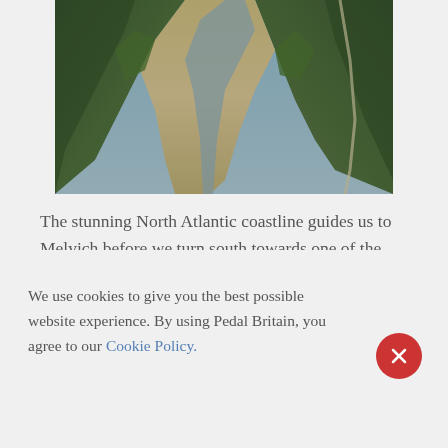[Figure (photo): Aerial view of a dramatic coastal gorge with a winding river/beach between green rocky cliffs, with a winding road visible on the right side]
The stunning North Atlantic coastline guides us to Melvich before we turn south towards one of the world's last wild places, the 'Flow Country'. An undulating, vast expanse of peat and pools provide our backdrop to Forsinard Station. A smooth single track road weaves alongside Loch Naver and past
We use cookies to give you the best possible website experience. By using Pedal Britain, you agree to our Cookie Policy.